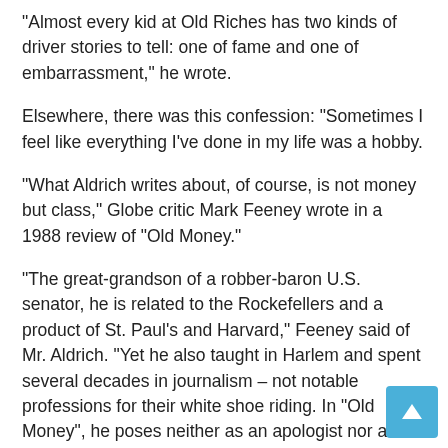“Almost every kid at Old Riches has two kinds of driver stories to tell: one of fame and one of embarrassment,” he wrote.
Elsewhere, there was this confession: “Sometimes I feel like everything I’ve done in my life was a hobby.
“What Aldrich writes about, of course, is not money but class,” Globe critic Mark Feeney wrote in a 1988 review of “Old Money.”
“The great-grandson of a robber-baron U.S. senator, he is related to the Rockefellers and a product of St. Paul’s and Harvard,” Feeney said of Mr. Aldrich. “Yet he also taught in Harlem and spent several decades in journalism – not notable professions for their white shoe riding. In “Old Money”, he poses neither as an apologist nor as a muckraker. On the contrary, he is equal parts memoirist, sociologist, psychologist and, inevitably, moralist.
Born in Boston on April 11, 1935, Nelson Wilmarth Aldrich Jr.